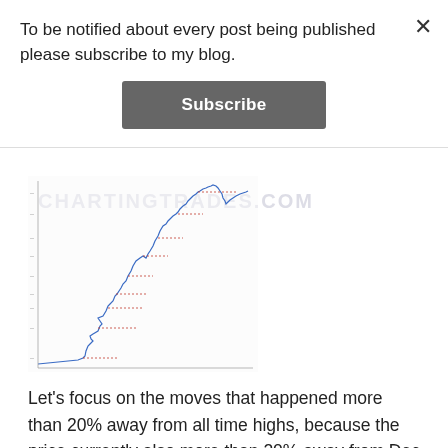To be notified about every post being published please subscribe to my blog.
Subscribe
[Figure (continuous-plot): Stock/cryptocurrency price chart showing historical price movements with annotation lines and labels, partially visible. Watermark text 'CHARTINGTRADES.COM' overlaid.]
Let's focus on the moves that happened more than 20% away from all time highs, because the price currently also more than 20% away from Dec '17 high. Of the 50 largest daily moves there are 20 such that we're interested in. Of which 2 happened this year, so I will rule them out, because the jury is still out and we don't know yet how the price will move in the future.